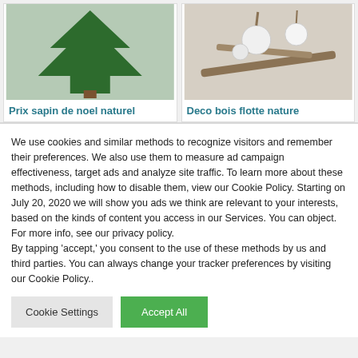[Figure (photo): Photo of a green natural Christmas tree (sapin de noel naturel)]
Prix sapin de noel naturel
[Figure (photo): Photo of driftwood decoration with white ornaments (deco bois flotte nature)]
Deco bois flotte nature
We use cookies and similar methods to recognize visitors and remember their preferences. We also use them to measure ad campaign effectiveness, target ads and analyze site traffic. To learn more about these methods, including how to disable them, view our Cookie Policy. Starting on July 20, 2020 we will show you ads we think are relevant to your interests, based on the kinds of content you access in our Services. You can object. For more info, see our privacy policy.
By tapping ‘accept,’ you consent to the use of these methods by us and third parties. You can always change your tracker preferences by visiting our Cookie Policy..
Cookie Settings
Accept All